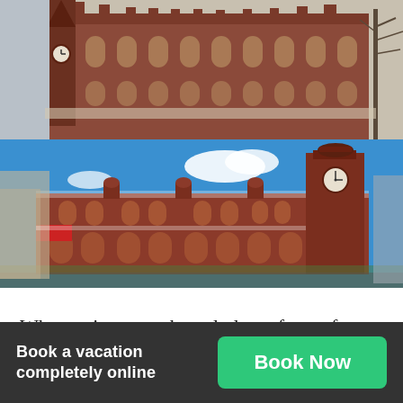[Figure (photo): Photograph of a large Victorian-era red brick building with Gothic architecture, a clock tower visible on the left, arched windows along the facade, and bare tree branches on the right. Likely St Pancras station or similar British railway station.]
[Figure (photo): Photograph of Chennai Central railway station under a bright blue sky with white clouds. The building is red brick with Indo-Saracenic architecture, featuring a prominent clock tower on the right, multiple arched entrances, and a crowded street scene in the foreground.]
When trains were the only large form of transport, Chennai Central railway station was laid out by the British. It was one of the busiest routes in India, connect the whole of South India to the rest of the
Book a vacation completely online
Book Now